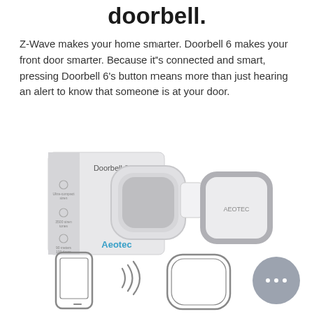doorbell.
Z-Wave makes your home smarter. Doorbell 6 makes your front door smarter. Because it's connected and smart, pressing Doorbell 6's button means more than just hearing an alert to know that someone is at your door.
[Figure (photo): Product photo of Aeotec Doorbell 6 box and devices — a rounded square doorbell button and a cylindrical chime unit, with 'Doorbell 6' and 'Aeotec' branding on the packaging.]
[Figure (illustration): Line-art icons at the bottom showing a smartphone, signal waves, a doorbell/chime device, and a chat bubble icon with ellipsis (gray circle).]